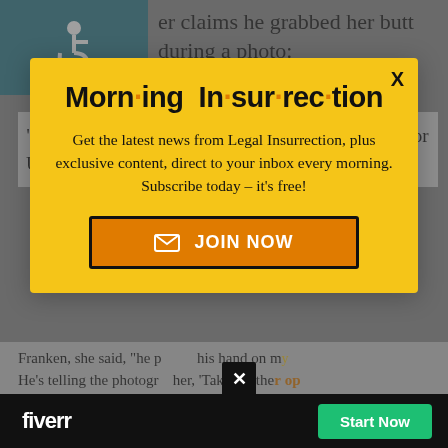er claims he grabbed her butt during a photo:
“I was just out of college in my first job, working for U.S. senator Patty Murray,” she
[Figure (infographic): Morning Insurrection newsletter signup modal popup with yellow background. Title reads 'Morn·ing In·sur·rec·tion' with orange dots as separators. Body text: 'Get the latest news from Legal Insurrection, plus exclusive content, direct to your inbox every morning. Subscribe today – it's free!' with an orange JOIN NOW button. X close button in top right.]
Franken, she said, “he p  his hand on my  He’s telling the photogr  her, ‘Take anothe  on  Im
[Figure (infographic): Fiverr advertisement bar at bottom of page. Black background with white 'fiverr' logo and a green 'Start Now' button. Small black X button above the bar.]